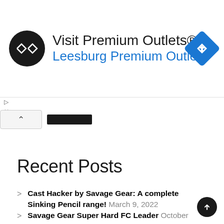[Figure (screenshot): Advertisement banner for Visit Premium Outlets® — Leesburg Premium Outlets, with circular logo on left and blue navigation diamond icon on right]
▷
×
∧ [redacted]
Recent Posts
Cast Hacker by Savage Gear: A complete Sinking Pencil range! March 9, 2022
Savage Gear Super Hard FC Leader October 24, 2021